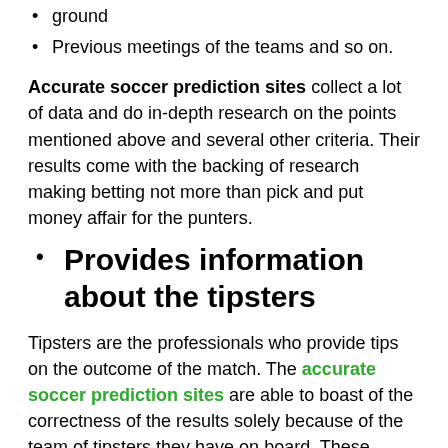ground
Previous meetings of the teams and so on.
Accurate soccer prediction sites collect a lot of data and do in-depth research on the points mentioned above and several other criteria. Their results come with the backing of research making betting not more than pick and put money affair for the punters.
Provides information about the tipsters
Tipsters are the professionals who provide tips on the outcome of the match. The accurate soccer prediction sites are able to boast of the correctness of the results solely because of the team of tipsters they have on board. These tipsters have passion for sports and betting. They have followed the games for years and years. They are also well-conversant with various technologically